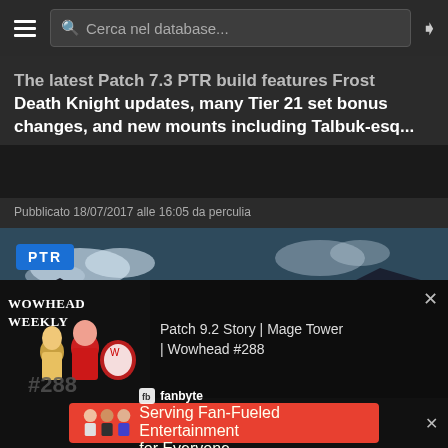Cerca nel database...
The latest Patch 7.3 PTR build features Frost Death Knight updates, many Tier 21 set bonus changes, and new mounts including Talbuk-esq...
Pubblicato 18/07/2017 alle 16:05 da perculia
[Figure (screenshot): PTR badge overlay on a dark fantasy game scene with green glowing figure and rocky landscape]
[Figure (screenshot): Wowhead Weekly #288 promo banner with animated characters and text: Patch 9.2 Story | Mage Tower | Wowhead #288]
[Figure (screenshot): Fanbyte advertisement banner: Serving Fan-Fueled Entertainment for Everyone]